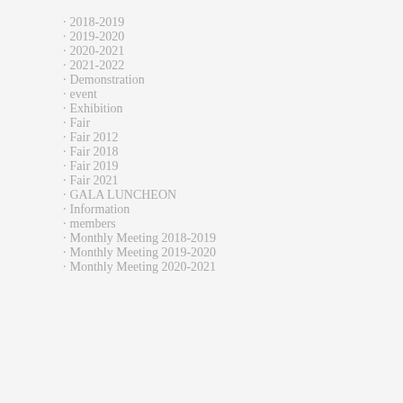2018-2019
2019-2020
2020-2021
2021-2022
Demonstration
event
Exhibition
Fair
Fair 2012
Fair 2018
Fair 2019
Fair 2021
GALA LUNCHEON
Information
members
Monthly Meeting 2018-2019
Monthly Meeting 2019-2020
Monthly Meeting 2020-2021